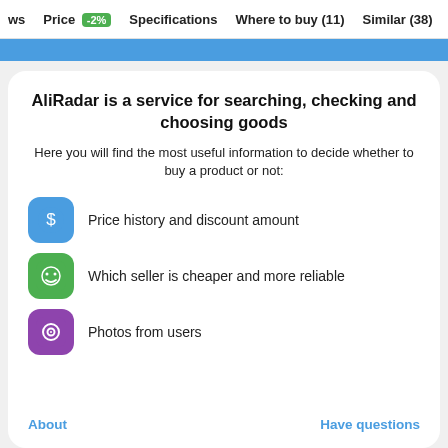ws  Price -2%  Specifications  Where to buy (11)  Similar (38)
AliRadar is a service for searching, checking and choosing goods
Here you will find the most useful information to decide whether to buy a product or not:
Price history and discount amount
Which seller is cheaper and more reliable
Photos from users
About  Have questions